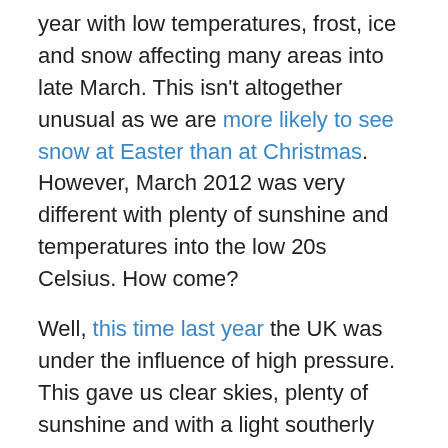year with low temperatures, frost, ice and snow affecting many areas into late March. This isn't altogether unusual as we are more likely to see snow at Easter than at Christmas. However, March 2012 was very different with plenty of sunshine and temperatures into the low 20s Celsius. How come?
Well, this time last year the UK was under the influence of high pressure. This gave us clear skies, plenty of sunshine and with a light southerly breeze, temperatures that were well above average. In fact, Scotland set an all time record maximum temperature with 22.8 °C at Fyvie Castle in Aberdeenshire.
[Figure (photo): Aerial or satellite photograph showing clouds and landscape, partially visible at bottom of page]